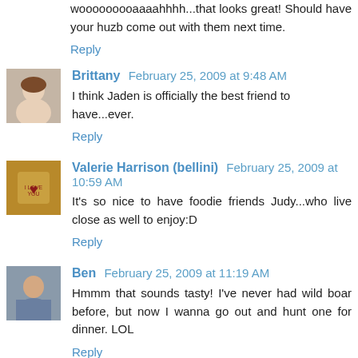wooooooooaaaahhhh...that looks great! Should have your huzb come out with them next time.
Reply
Brittany  February 25, 2009 at 9:48 AM
I think Jaden is officially the best friend to have...ever.
Reply
Valerie Harrison (bellini)  February 25, 2009 at 10:59 AM
It's so nice to have foodie friends Judy...who live close as well to enjoy:D
Reply
Ben  February 25, 2009 at 11:19 AM
Hmmm that sounds tasty! I've never had wild boar before, but now I wanna go out and hunt one for dinner. LOL
Reply